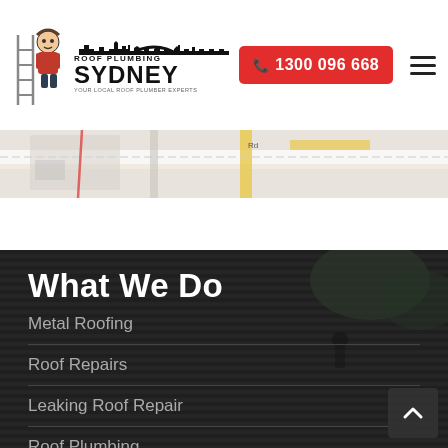Roof Plumbing Sydney — Your Local Roof Plumber Experts | Phone: 1300 096 668
[Figure (map): Google Maps strip showing local area roads]
What We Do
Metal Roofing
Roof Repairs
Leaking Roof Repair
Roof Plumbing
Gutters Fascia